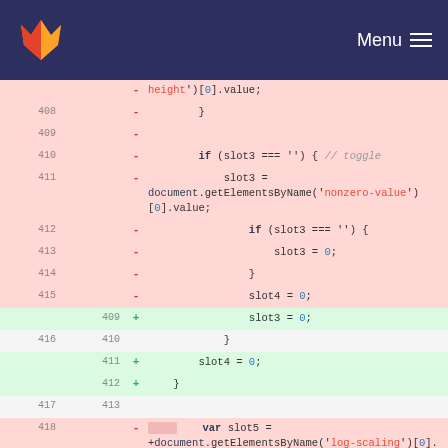GitLab navbar with logo and Menu
Code diff showing JavaScript lines 408-418 with deletions (red) and additions (green). Shows slot3, slot4, slot5 variable assignments and document.getElementsByName calls.